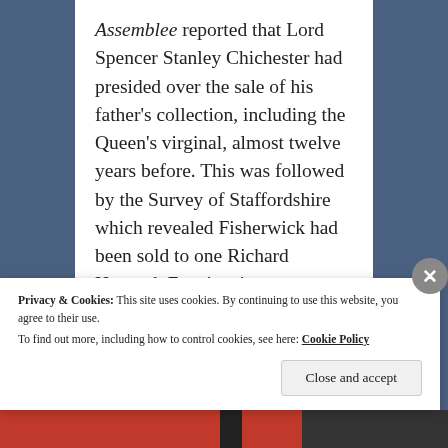Assemblee reported that Lord Spencer Stanley Chichester had presided over the sale of his father's collection, including the Queen's virginal, almost twelve years before. This was followed by the Survey of Staffordshire which revealed Fisherwick had been sold to one Richard Howard, Esquire six years before, in 1810. The Survey, being concerned with the
Privacy & Cookies: This site uses cookies. By continuing to use this website, you agree to their use.
To find out more, including how to control cookies, see here: Cookie Policy
Close and accept